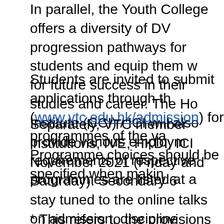In parallel, the Youth College offers a diversity of DVE progression pathways for students and equip them with for future success in their studies and career. The Ho Institute (CCI) / ICI will also provide various employm requirements of respective programmes are listed at a
Students are invited to submit applications through th (www.vtc.edu.hk/admission) for programmes of the va Programme choices should be specified when makin
Separately, VTC member institutions, IVE, HKDI, ICI November 2021 (Friday and Saturday). Secondary 6 stay tuned to the online talks on admission, discipline sessions to receive more VTC study information. Stu and interactive teaching and learning facilities throug on the Info Day website. Physical campus visits pre-a will take place on 19 to 20 and 26 to 27 November 20 with the advanced and interactive teaching and learni experiential workshops. Interested students and pare websites www.ive.edu.hk/infoday and http://infoday.th activities.
* This refers to the provisions on programmes that of